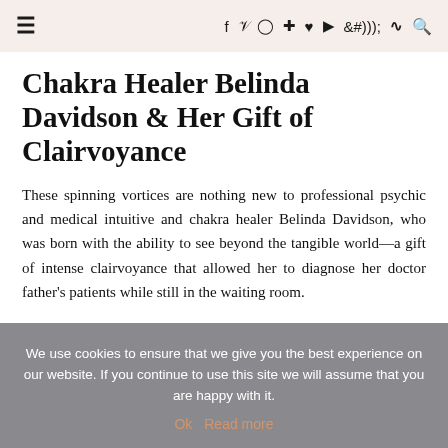≡  f  y  ⊙  ⊕  ♥  ▶  )))  🔍
Chakra Healer Belinda Davidson & Her Gift of Clairvoyance
These spinning vortices are nothing new to professional psychic and medical intuitive and chakra healer Belinda Davidson, who was born with the ability to see beyond the tangible world—a gift of intense clairvoyance that allowed her to diagnose her doctor father's patients while still in the waiting room.
We use cookies to ensure that we give you the best experience on our website. If you continue to use this site we will assume that you are happy with it.
Ok  Read more